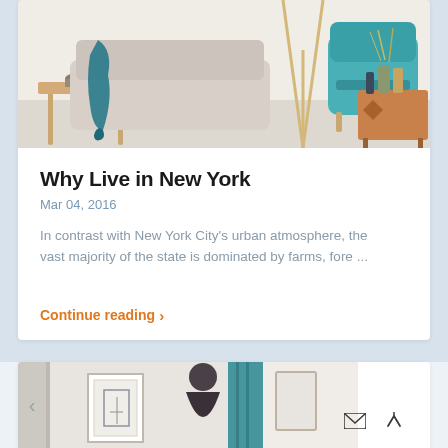[Figure (photo): Interior room photo showing a teal/turquoise armchair, a sofa with a teal blanket draped over it, a wooden side table with vases, and a light wood floor lamp in the background]
Why Live in New York
Mar 04, 2016
In contrast with New York City's urban atmosphere, the vast majority of the state is dominated by farms, fore ...
Continue reading ›
[Figure (photo): Partial view of a second article card showing an interior room with framed artwork, a teal curtain, and a mirror]